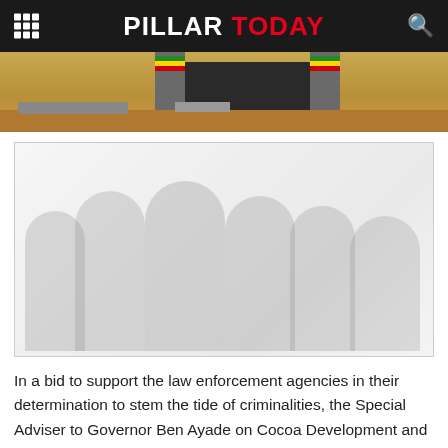PILLAR TODAY
[Figure (photo): Exterior of a building with two striped pillars (green, yellow, red stripes), a dark doorway, rocky rubble and a bench in front, sandy ground.]
[Figure (photo): A faded/washed-out group photo showing several people standing together outdoors.]
In a bid to support the law enforcement agencies in their determination to stem the tide of criminalities, the Special Adviser to Governor Ben Ayade on Cocoa Development and Control, Dr Oscar